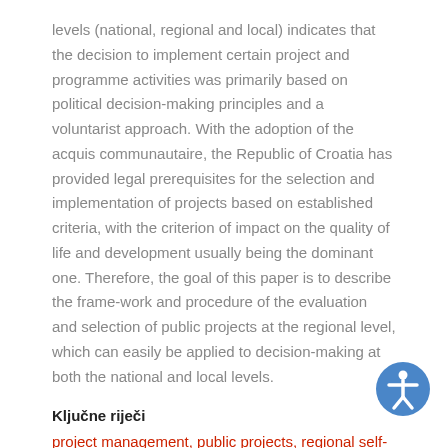levels (national, regional and local) indicates that the decision to implement certain project and programme activities was primarily based on political decision-making principles and a voluntarist approach. With the adoption of the acquis communautaire, the Republic of Croatia has provided legal prerequisites for the selection and implementation of projects based on established criteria, with the criterion of impact on the quality of life and development usually being the dominant one. Therefore, the goal of this paper is to describe the frame-work and procedure of the evaluation and selection of public projects at the regional level, which can easily be applied to decision-making at both the national and local levels.
Ključne riječi
project management, public projects, regional self-government unit, public project selection, regional development